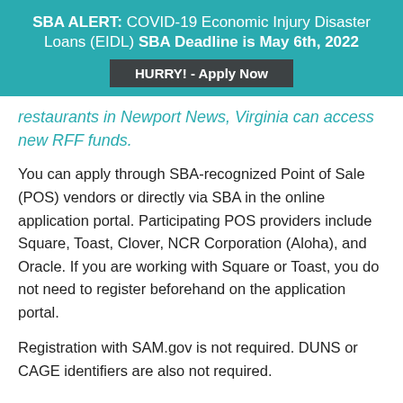SBA ALERT: COVID-19 Economic Injury Disaster Loans (EIDL) SBA Deadline is May 6th, 2022
HURRY! - Apply Now
restaurants in Newport News, Virginia can access new RFF funds.
You can apply through SBA-recognized Point of Sale (POS) vendors or directly via SBA in the online application portal. Participating POS providers include Square, Toast, Clover, NCR Corporation (Aloha), and Oracle. If you are working with Square or Toast, you do not need to register beforehand on the application portal.
Registration with SAM.gov is not required. DUNS or CAGE identifiers are also not required.